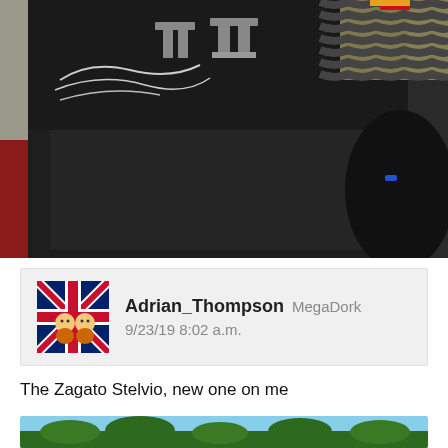[Figure (photo): Interior photo of a vehicle showing mechanical components, wiring, brackets, springs/coils on the right side, and a dark floor panel. Shot from above looking into the cabin/boot area.]
Adrian_Thompson  MegaDork
9/23/19 8:02 a.m.
The Zagato Stelvio, new one on me
[Figure (photo): Partial photo showing blue sky and green trees at the bottom of the page.]